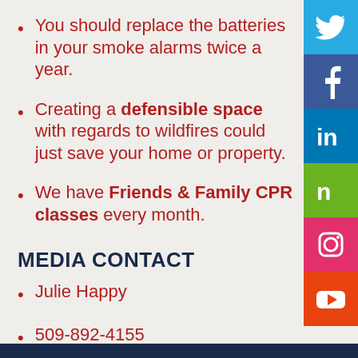You should replace the batteries in your smoke alarms twice a year.
Creating a defensible space with regards to wildfires could just save your home or property.
We have Friends & Family CPR classes every month.
MEDIA CONTACT
Julie Happy
509-892-4155
happyj@spokanevalleyfire.com